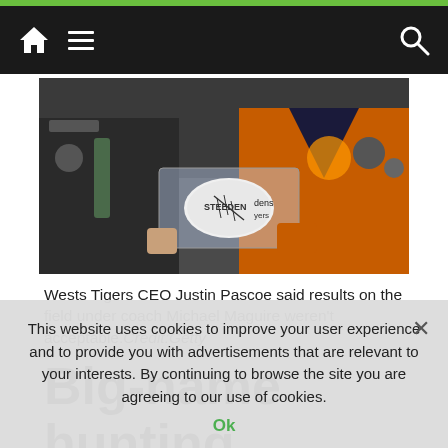Navigation bar with home, menu, and search icons
[Figure (photo): A person in a suit presenting a Steeden rugby league football in a display case to someone wearing an orange Wests Tigers jersey. Background shows a crowd at a rugby league ground.]
Wests Tigers CEO Justin Pascoe said results on the field under coach Michael Maguire weren't acceptable. Credit:Getty
Big-name hunting
This website uses cookies to improve your user experience and to provide you with advertisements that are relevant to your interests. By continuing to browse the site you are agreeing to our use of cookies.
Ok